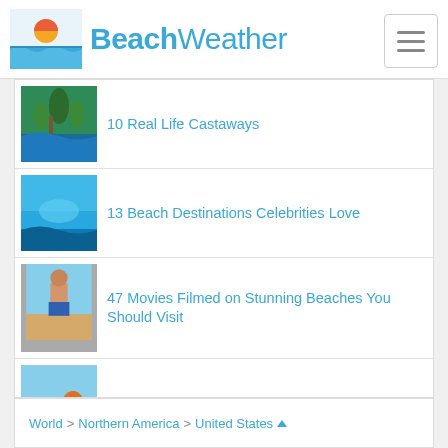[Figure (logo): BeachWeather logo with sun/wave icon and text]
10 Real Life Castaways
13 Beach Destinations Celebrities Love
47 Movies Filmed on Stunning Beaches You Should Visit
5 Ways to Achieve a Safe Beach Tan
Top Beach Holiday Packing Tips
World > Northern America > United States ▲